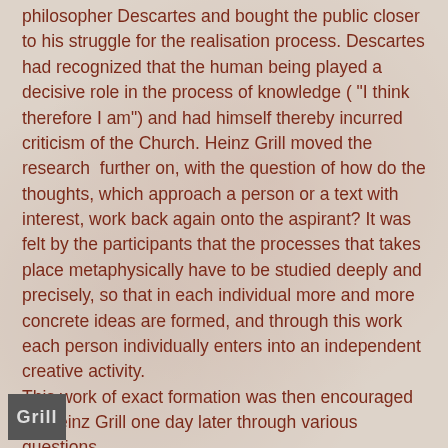philosopher Descartes and bought the public closer to his struggle for the realisation process. Descartes had recognized that the human being played a decisive role in the process of knowledge ( "I think  therefore I am") and had himself thereby incurred criticism of the Church. Heinz Grill moved the research  further on, with the question of how do the thoughts, which approach a person or a text with interest, work back again onto the aspirant? It was felt by the participants that the processes that takes place metaphysically have to be studied deeply and precisely, so that in each individual more and more concrete ideas are formed, and through this work each person individually enters into an independent creative activity.
This work of exact formation was then encouraged by Heinz Grill one day later through various questions.
[Figure (logo): Small dark grey square logo box with 'Grill' text in light grey]